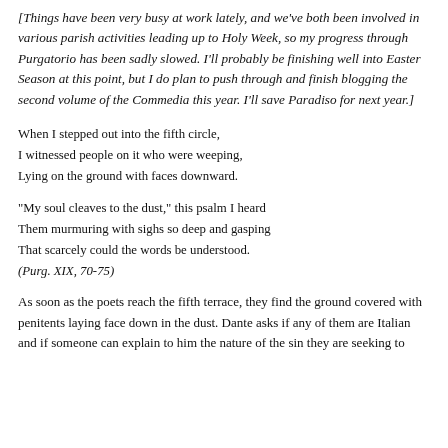[Things have been very busy at work lately, and we've both been involved in various parish activities leading up to Holy Week, so my progress through Purgatorio has been sadly slowed. I'll probably be finishing well into Easter Season at this point, but I do plan to push through and finish blogging the second volume of the Commedia this year. I'll save Paradiso for next year.]
When I stepped out into the fifth circle,
I witnessed people on it who were weeping,
Lying on the ground with faces downward.
"My soul cleaves to the dust," this psalm I heard
Them murmuring with sighs so deep and gasping
That scarcely could the words be understood.
(Purg. XIX, 70-75)
As soon as the poets reach the fifth terrace, they find the ground covered with penitents laying face down in the dust. Dante asks if any of them are Italian and if someone can explain to him the nature of the sin they are seeking to